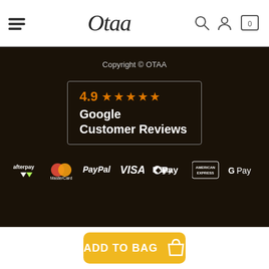Otaa — navigation header with menu, logo, search, account, and cart icons
Copyright © OTAA
[Figure (other): Google Customer Reviews badge showing rating 4.9 with 5 orange stars]
[Figure (other): Payment method logos: Afterpay, MasterCard, PayPal, VISA, Apple Pay, American Express, Google Pay]
ADD TO BAG